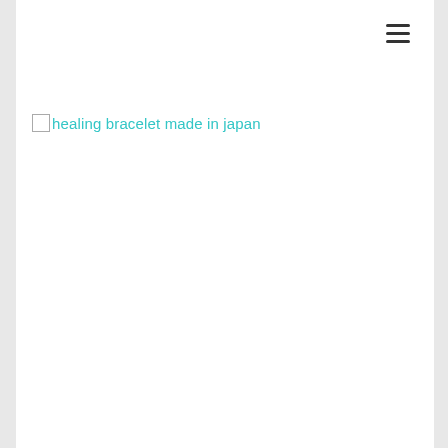[Figure (logo): Circular logo of a woman with purple flowing hair holding a crystal ball, with text 'inc' inside the circle. Purple and pink illustration style.]
Navigation header with logo and hamburger menu
healing bracelet made in japan